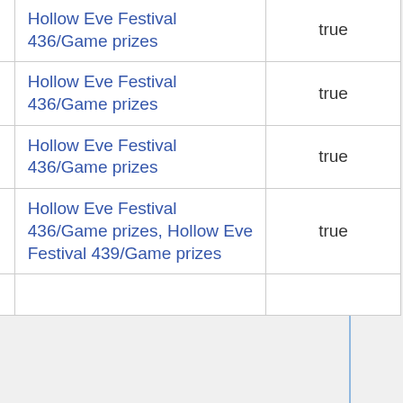| Item | Category | Available |
| --- | --- | --- |
| glittery gauze overlay | Hollow Eve Festival 436/Game prizes | true |
| Folding chair with a cushioned seat | Hollow Eve Festival 436/Game prizes | true |
| Graceful fan painted with swirling blossoms | Hollow Eve Festival 436/Game prizes | true |
| Heavily embroidered sash with gemstone fractals | Hollow Eve Festival 436/Game prizes, Hollow Eve Festival 439/Game prizes | true |
| High- |  |  |